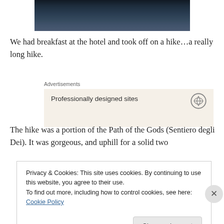[Figure (photo): Partial photo of a sky/seascape, dark tones, cropped at top]
We had breakfast at the hotel and took off on a hike…a really long hike.
Advertisements
[Figure (infographic): Advertisement banner: 'Professionally designed sites' with WordPress logo]
The hike was a portion of the Path of the Gods (Sentiero degli Dei). It was gorgeous, and uphill for a solid two
Privacy & Cookies: This site uses cookies. By continuing to use this website, you agree to their use.
To find out more, including how to control cookies, see here: Cookie Policy